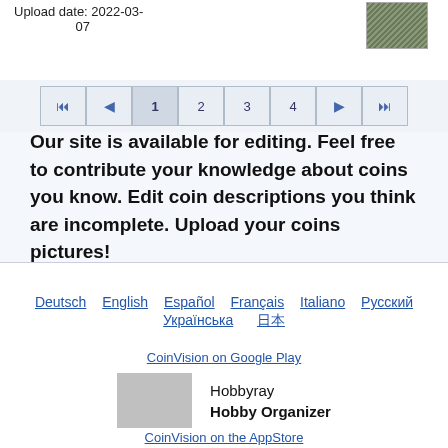Upload date: 2022-03-07
[Figure (photo): Thumbnail image of a coin with diagonal line texture, greenish-gray color]
[Figure (other): Pagination navigation bar with buttons: |<, <, 1 (active), 2, 3, 4, >, >|]
Our site is available for editing. Feel free to contribute your knowledge about coins you know. Edit coin descriptions you think are incomplete. Upload your coins pictures!
Deutsch   English   Español   Français   Italiano   Русский   Українська   日本語
[Figure (other): CoinVision on Google Play badge/link]
Hobbyray
Hobby Organizer
[Figure (other): CoinVision on the AppStore badge/link]